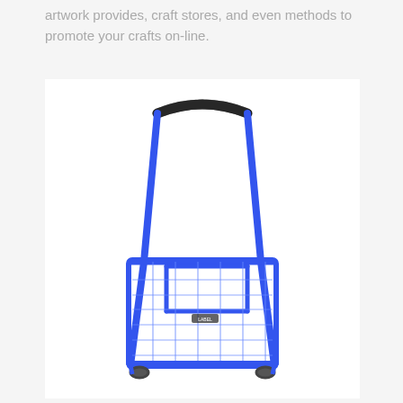artwork provides, craft stores, and even methods to promote your crafts on-line.
[Figure (photo): A blue wire shopping cart / trolley with a black foam-wrapped handle at the top, two blue metal frame tubes forming the handle structure, and a wire mesh basket at the bottom. The cart has wheels at the base and a small label/tag visible on the basket.]